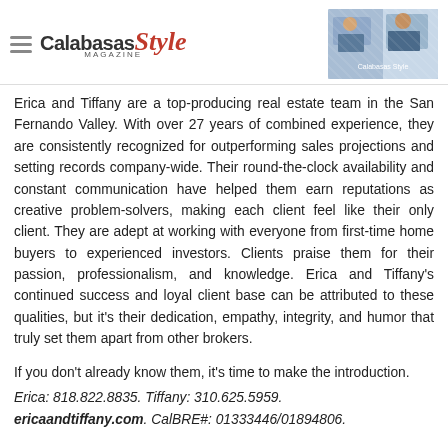Calabasas Style Magazine
Erica and Tiffany are a top-producing real estate team in the San Fernando Valley. With over 27 years of combined experience, they are consistently recognized for outperforming sales projections and setting records company-wide. Their round-the-clock availability and constant communication have helped them earn reputations as creative problem-solvers, making each client feel like their only client. They are adept at working with everyone from first-time home buyers to experienced investors. Clients praise them for their passion, professionalism, and knowledge. Erica and Tiffany's continued success and loyal client base can be attributed to these qualities, but it's their dedication, empathy, integrity, and humor that truly set them apart from other brokers.
If you don't already know them, it's time to make the introduction.
Erica: 818.822.8835. Tiffany: 310.625.5959.
ericaandtiffany.com. CalBRE#: 01333446/01894806.